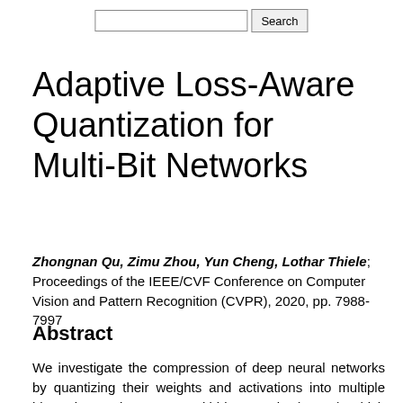Adaptive Loss-Aware Quantization for Multi-Bit Networks
Zhongnan Qu, Zimu Zhou, Yun Cheng, Lothar Thiele; Proceedings of the IEEE/CVF Conference on Computer Vision and Pattern Recognition (CVPR), 2020, pp. 7988-7997
Abstract
We investigate the compression of deep neural networks by quantizing their weights and activations into multiple binary bases, known as multi-bit networks (MBNs), which accelerate the